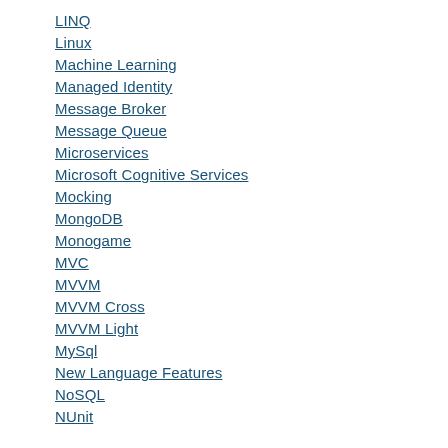LINQ
Linux
Machine Learning
Managed Identity
Message Broker
Message Queue
Microservices
Microsoft Cognitive Services
Mocking
MongoDB
Monogame
MVC
MVVM
MVVM Cross
MVVM Light
MySql
New Language Features
NoSQL
NUnit